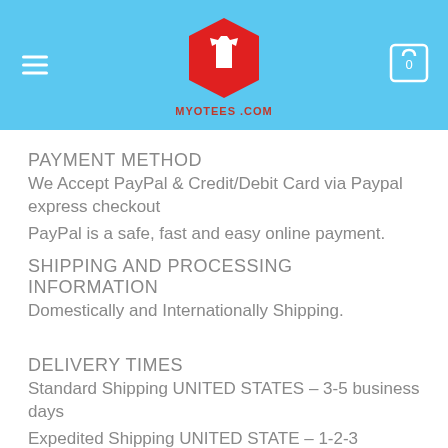[Figure (logo): Myotees.com website header with blue background, red hexagon t-shirt logo, hamburger menu icon on left, and cart icon with 0 on right]
PAYMENT METHOD
We Accept PayPal & Credit/Debit Card via Paypal express checkout
PayPal is a safe, fast and easy online payment.
SHIPPING AND PROCESSING INFORMATION
Domestically and Internationally Shipping.
DELIVERY TIMES
Standard Shipping UNITED STATES – 3-5 business days
Expedited Shipping UNITED STATE – 1-2-3 business days
Overnight EXPRESS shipping USA – 1-business-day